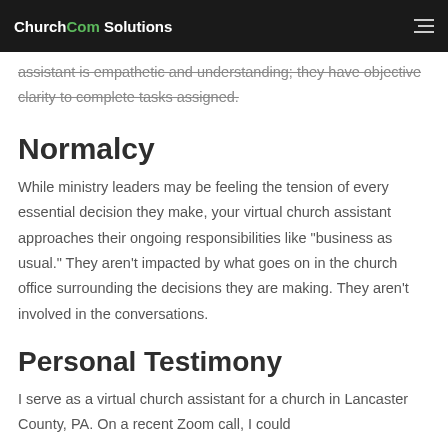ChurchCom Solutions
assistant is empathetic and understanding; they have objective clarity to complete tasks assigned.
Normalcy
While ministry leaders may be feeling the tension of every essential decision they make, your virtual church assistant approaches their ongoing responsibilities like "business as usual." They aren't impacted by what goes on in the church office surrounding the decisions they are making. They aren't involved in the conversations.
Personal Testimony
I serve as a virtual church assistant for a church in Lancaster County, PA. On a recent Zoom call, I could